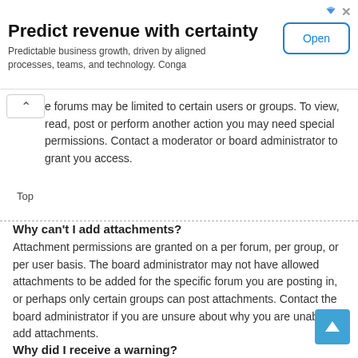[Figure (screenshot): Advertisement banner: 'Predict revenue with certainty' with subtitle 'Predictable business growth, driven by aligned processes, teams, and technology. Conga' and an Open button]
e forums may be limited to certain users or groups. To view, read, post or perform another action you may need special permissions. Contact a moderator or board administrator to grant you access.
Top
Why can't I add attachments?
Attachment permissions are granted on a per forum, per group, or per user basis. The board administrator may not have allowed attachments to be added for the specific forum you are posting in, or perhaps only certain groups can post attachments. Contact the board administrator if you are unsure about why you are unable to add attachments.
Top
Why did I receive a warning?